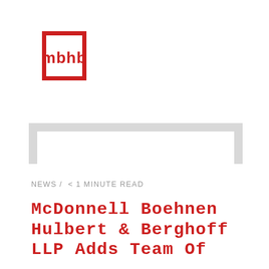[Figure (logo): MBHB law firm logo — red square bracket design with lowercase 'mbhb' text inside]
[Figure (other): Grey navigation bar / bracket shape decorative element]
NEWS /  < 1 MINUTE READ
McDonnell Boehnen Hulbert & Berghoff LLP Adds Team Of